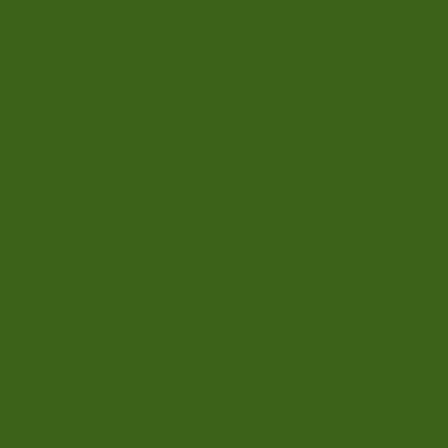[Figure (photo): Dark green rectangular block occupying the left portion of the page]
Make Ride Sha
Boulder employ computer progr money and free
How? When en the company's diverse callings
Encourage you
Tomorrow, Do
Poor Telework, carpooling, tele coworkers use telework. Can y
Rush Hour Tel
What would you read work emai saves time and
Snow Day Tele
Big storm in the